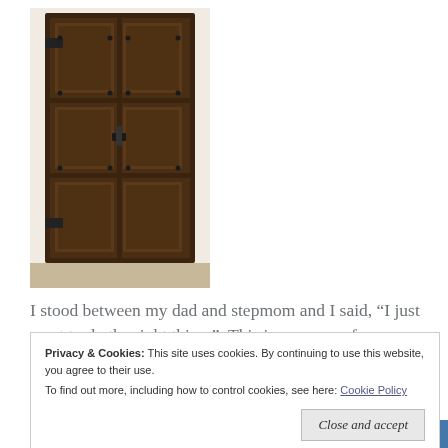[Figure (photo): A tall dark wooden door with iron hardware, panel detailing, and a white wall visible at the base. The door appears old and rustic.]
I stood between my dad and stepmom and I said, “I just want to do the right thing.”  This is carryover from elementary school subbing.  In the industry, we say, “If you are [standing up/punching a cardboard box/going to get your backpack], you are doing the wrong thing.”
Privacy & Cookies: This site uses cookies. By continuing to use this website, you agree to their use.
To find out more, including how to control cookies, see here: Cookie Policy
Close and accept